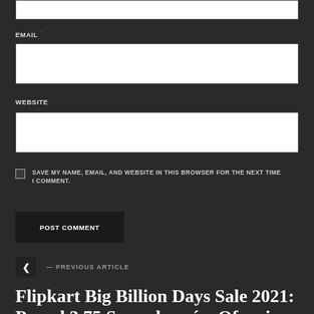[Figure (screenshot): Top portion of a comment form input box (cut off at top of page)]
EMAIL *
[Figure (screenshot): Email input text field, white background]
WEBSITE
[Figure (screenshot): Website input text field, white background]
SAVE MY NAME, EMAIL, AND WEBSITE IN THIS BROWSER FOR THE NEXT TIME I COMMENT.
POST COMMENT
— PREVIOUS ARTICLE
Flipkart Big Billion Days Sale 2021: Ponad 3.75 Sprzedawców Oferuje